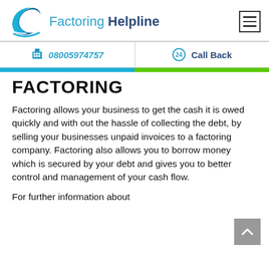[Figure (logo): Factoring Helpline logo with blue swoosh/curve graphic and text 'Factoring Helpline']
08005974757
Call Back
FACTORING
Factoring allows your business to get the cash it is owed quickly and with out the hassle of collecting the debt, by selling your businesses unpaid invoices to a factoring company. Factoring also allows you to borrow money which is secured by your debt and gives you to better control and management of your cash flow.
For further information about